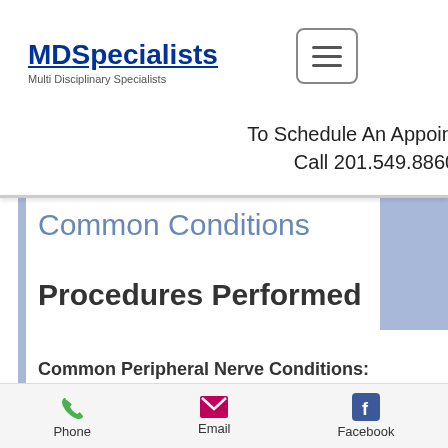[Figure (logo): MDSpecialists logo with underline and tagline 'Multi Disciplinary Specialists']
[Figure (other): Hamburger menu icon button with three horizontal lines]
To Schedule An Appointment
Call 201.549.8860
Common Conditions
Procedures Performed
Common Peripheral Nerve Conditions:
Brachial Plexus Injury
Carpal Tunnel Syndrome
Phone   Email   Facebook